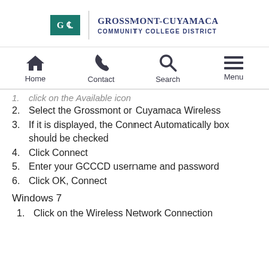[Figure (logo): Grossmont-Cuyamaca Community College District logo with green square GC icon and organization name]
[Figure (infographic): Navigation bar with Home, Contact, Search, Menu icons]
click on the Available icon (truncated/partial)
2. Select the Grossmont or Cuyamaca Wireless
3. If it is displayed, the Connect Automatically box should be checked
4. Click Connect
5. Enter your GCCCD username and password
6. Click OK, Connect
Windows 7
1. Click on the Wireless Network Connection